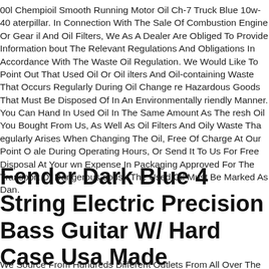00l Chempioil Smooth Running Motor Oil Ch-7 Truck Blue 10w-40 aterpillar. In Connection With The Sale Of Combustion Engine Or Gear il And Oil Filters, We As A Dealer Are Obliged To Provide Information bout The Relevant Regulations And Obligations In Accordance With The Waste Oil Regulation. We Would Like To Point Out That Used Oil Or Oil ilters And Oil-containing Waste That Occurs Regularly During Oil Changes re Hazardous Goods That Must Be Disposed Of In An Environmentally riendly Manner. You Can Hand In Used Oil In The Same Amount As The resh Oil You Bought From Us, As Well As Oil Filters And Oily Waste That egularly Arises When Changing The Oil, Free Of Charge At Our Point Of ale During Operating Hours, Or Send It To Us For Free Disposal At Your wn Expense In Packaging Approved For The Transport Of Dangerous oods . The Used Oil Must Be Marked As Dan.
Fender Dark Blue 4 String Electric Precision Bass Guitar W/ Hard Case Usa Made
We Source From Hundreds Different Outlets From All Over The Country To